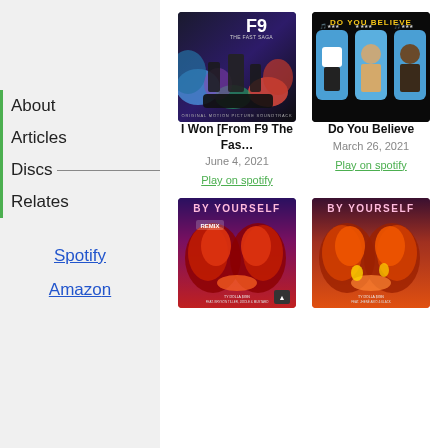About
Articles
Discs
Relates
Spotify
Amazon
[Figure (photo): F9 The Fast Saga Original Motion Picture Soundtrack album cover]
I Won [From F9 The Fas…
June 4, 2021
Play on spotify
[Figure (photo): Do You Believe album cover featuring Marshmello and others]
Do You Believe
March 26, 2021
Play on spotify
[Figure (photo): By Yourself Remix album cover with red floral explosion]
[Figure (photo): By Yourself album cover with orange-red floral explosion]